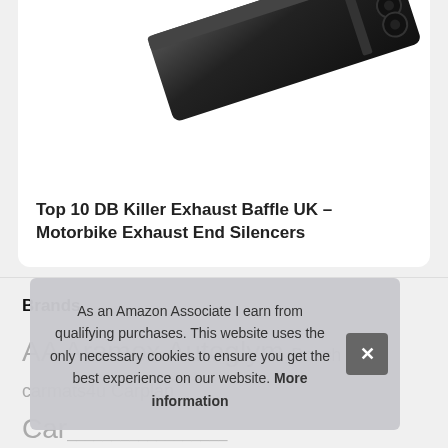[Figure (photo): Partial view of a black DB killer exhaust baffle / motorbike exhaust silencer product on white background]
Top 10 DB Killer Exhaust Baffle UK – Motorbike Exhaust End Silencers
Brands
AA Aramox Autoglym Bosch carmats4u Carplan Car... KAT... Me... Qiilu... Simply Streetwize Accessories Sureromise One Stop Solution
As an Amazon Associate I earn from qualifying purchases. This website uses the only necessary cookies to ensure you get the best experience on our website. More information